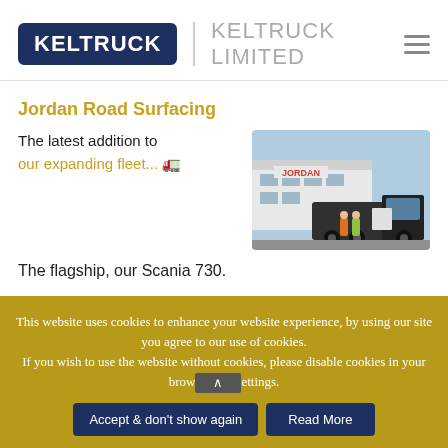[Figure (logo): Keltruck logo with dark navy background and white text, followed by 'KELTRUCK LIMITED' company name in grey]
Jordan Road Surfacing
The latest addition to our expanding fleet... 🚛
[Figure (photo): Photo of Jordan Road Surfacing truck outside building with two people standing in front]
The flagship, our Scania 730.
This website uses cookies to enhance your website experience, by using our site you agree to our use of cookies. If you wish to use the website without cookies, please disable cookies in your browser settings.